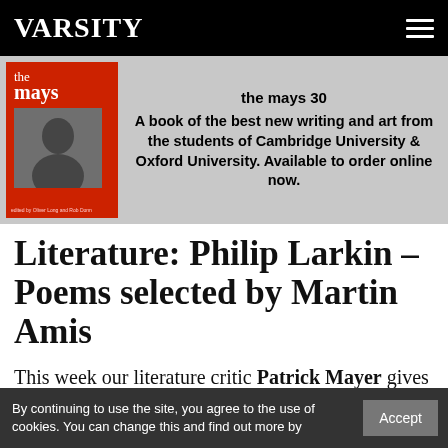VARSITY
[Figure (illustration): Advertisement banner for 'the mays 30' showing a red book cover with 'the mays' text and a black-and-white photo inside, on a grey background.]
the mays 30
A book of the best new writing and art from the students of Cambridge University & Oxford University. Available to order online now.
Literature: Philip Larkin – Poems selected by Martin Amis
This week our literature critic Patrick Mayer gives his view on the new collection
[Figure (illustration): Star rating: 4 out of 5 stars (4 filled red stars, 1 empty/outline star)]
By continuing to use the site, you agree to the use of cookies. You can change this and find out more by